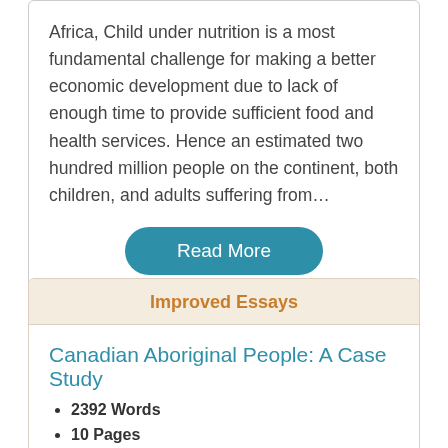Africa, Child under nutrition is a most fundamental challenge for making a better economic development due to lack of enough time to provide sufficient food and health services. Hence an estimated two hundred million people on the continent, both children, and adults suffering from…
Read More
Improved Essays
Canadian Aboriginal People: A Case Study
2392 Words
10 Pages
Food insecurity is a problem in remote aboriginal